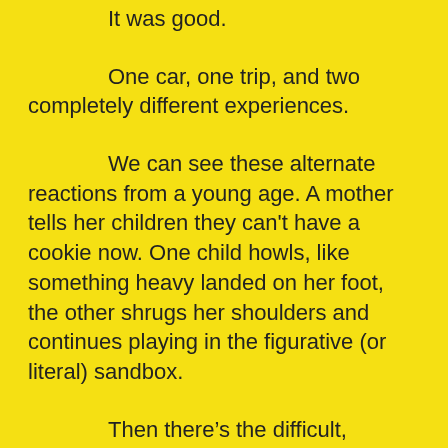It was good.
One car, one trip, and two completely different experiences.
We can see these alternate reactions from a young age. A mother tells her children they can't have a cookie now. One child howls, like something heavy landed on her foot, the other shrugs her shoulders and continues playing in the figurative (or literal) sandbox.
Then there’s the difficult, harrowing experiences, like those who lived through and experienced life in a concentration camp during World War II. The inhumane conditions of life at Auschwitz; the incomprehensible cruelty, abuse, violence, and firsthand witnessing of genocide caused many to lose